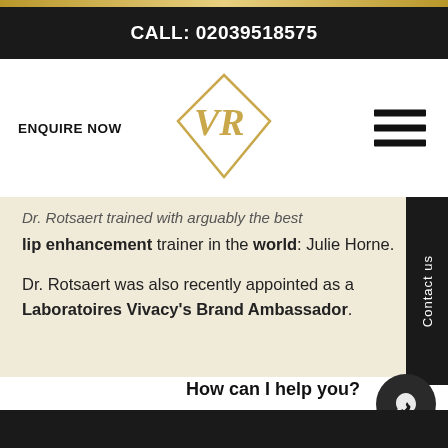CALL: 02039518575
ENQUIRE NOW
[Figure (logo): Diamond-shaped VR logo in gold]
Dr. Rotsaert trained with arguably the best lip enhancement trainer in the world: Julie Horne.
Dr. Rotsaert was also recently appointed as a Laboratoires Vivacy's Brand Ambassador.
Contact us
How can I help you?